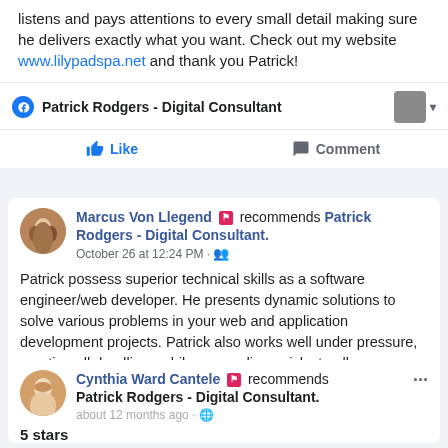listens and pays attentions to every small detail making sure he delivers exactly what you want. Check out my website www.lilypadspa.net and thank you Patrick!
Patrick Rodgers - Digital Consultant
Like   Comment
Marcus Von Llegend recommends Patrick Rodgers - Digital Consultant. October 26 at 12:24 PM
Patrick possess superior technical skills as a software engineer/web developer. He presents dynamic solutions to solve various problems in your web and application development projects. Patrick also works well under pressure, meeting all deadlines while responding quicky to all your troubleshooting requests.
Cynthia Ward Cantele recommends Patrick Rodgers - Digital Consultant. about 12 months ago
5 stars